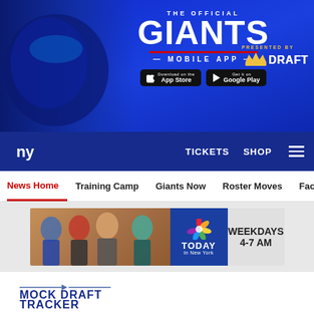[Figure (screenshot): NY Giants Official Mobile App advertisement banner with blue background, helmet image, THE OFFICIAL GIANTS MOBILE APP text, App Store and Google Play buttons, and DraftKings logo]
TICKETS  SHOP
News Home
Training Camp
Giants Now
Roster Moves
Fact o
[Figure (photo): NBC TODAY in New York advertisement showing news anchors with WEEKDAYS 4-7 AM text]
[Figure (logo): MOCK DRAFT TRACKER logo]
Presented by
[Figure (infographic): Social share icons: Facebook, Twitter, Email, Link]